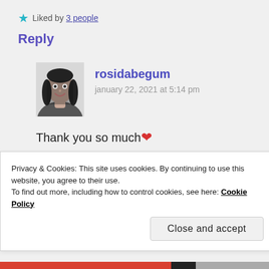★ Liked by 3 people
Reply
[Figure (photo): Black and white photo of a young woman with long dark hair, smiling]
rosidabegum
january 22, 2021 at 5:14 pm
Thank you so much ❤
★ Liked by 2 people
Reply
Privacy & Cookies: This site uses cookies. By continuing to use this website, you agree to their use.
To find out more, including how to control cookies, see here: Cookie Policy
Close and accept